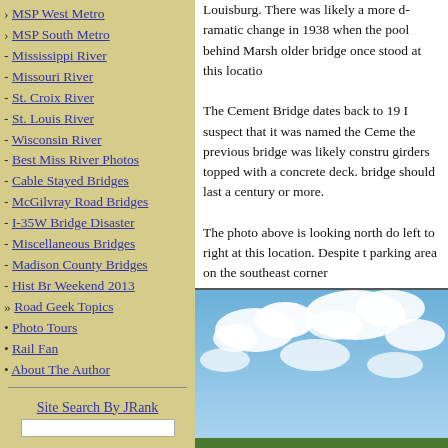› MSP West Metro
› MSP South Metro
- Mississippi River
- Missouri River
- St. Croix River
- St. Louis River
- Wisconsin River
- Best Miss River Photos
- Cable Stayed Bridges
- McGilvray Road Bridges
- I-35W Bridge Disaster
- Miscellaneous Bridges
- Madison County Bridges
- Hist Br Weekend 2013
» Road Geek Topics
• Photo Tours
• Rail Fan
• About The Author
Site Search By JRank
Louisburg. There was likely a more dramatic change in 1938 when the pool behind Marsh... older bridge once stood at this locatio...
The Cement Bridge dates back to 19... I suspect that it was named the Ceme... the previous bridge was likely constru... girders topped with a concrete deck. bridge should last a century or more.
The photo above is looking north dow... left to right at this location. Despite t... parking area on the southeast corner
[Figure (photo): Aerial or ground-level photo of a flat landscape with green fields under a blue sky with white clouds.]